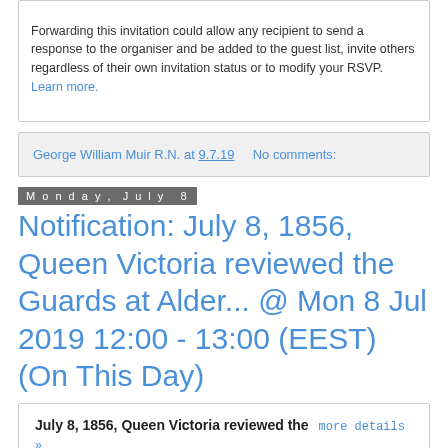Forwarding this invitation could allow any recipient to send a response to the organiser and be added to the guest list, invite others regardless of their own invitation status or to modify your RSVP. Learn more.
George William Muir R.N. at 9.7.19   No comments:
Monday, July 8
Notification: July 8, 1856, Queen Victoria reviewed the Guards at Alder... @ Mon 8 Jul 2019 12:00 - 13:00 (EEST) (On This Day)
July 8, 1856, Queen Victoria reviewed the Guards at Aldershot on their return from the Crimea. more details »
| Field | Value |
| --- | --- |
| When | Mon 8 Jul 2019 12:00 – 13:00 Eastern European Time - Athens |
| Where | Aldershot UK (map) |
| Calendar | On This Day |